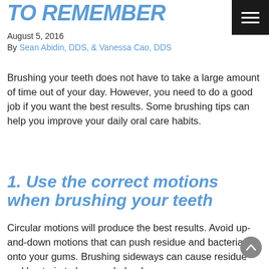TO REMEMBER
August 5, 2016
By Sean Abidin, DDS, & Vanessa Cao, DDS
Brushing your teeth does not have to take a large amount of time out of your day. However, you need to do a good job if you want the best results. Some brushing tips can help you improve your daily oral care habits.
1. Use the correct motions when brushing your teeth
Circular motions will produce the best results. Avoid up-and-down motions that can push residue and bacteria onto your gums. Brushing sideways can cause residue and bacteria to become lodged between your teeth. Circular brushing is the most...